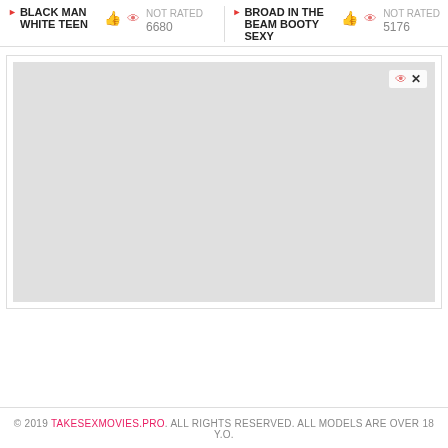BLACK MAN WHITE TEEN | NOT RATED | 6680 | BROAD IN THE BEAM BOOTY SEXY | NOT RATED | 5176
[Figure (screenshot): Embedded video player area with gray background and small controls (like/close icons) in top right corner]
© 2019 TAKESEXMOVIES.PRO. ALL RIGHTS RESERVED. ALL MODELS ARE OVER 18 Y.O.